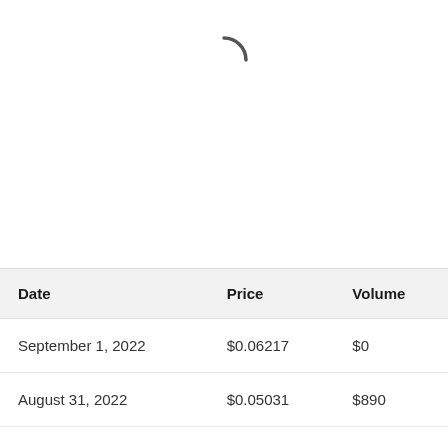[Figure (other): Loading spinner arc — a dark curved arc indicating a loading state, positioned in the upper center of the page.]
| Date | Price | Volume |
| --- | --- | --- |
| September 1, 2022 | $0.06217 | $0 |
| August 31, 2022 | $0.05031 | $890 |